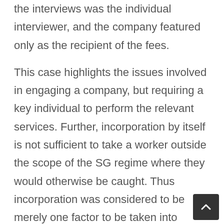the interviews was the individual interviewer, and the company featured only as the recipient of the fees.
This case highlights the issues involved in engaging a company, but requiring a key individual to perform the relevant services. Further, incorporation by itself is not sufficient to take a worker outside the scope of the SG regime where they would otherwise be caught. Thus incorporation was considered to be merely one factor to be taken into account and weighed in light of the totality of the circumstances. It is not a